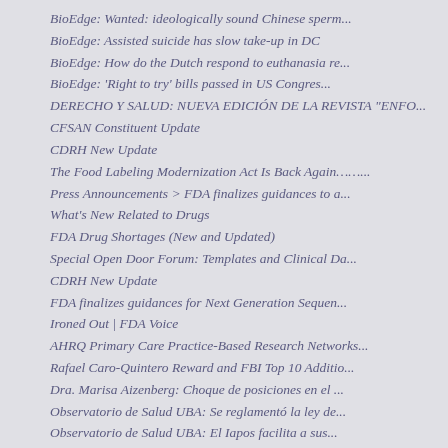BioEdge: Wanted: ideologically sound Chinese sperm...
BioEdge: Assisted suicide has slow take-up in DC
BioEdge: How do the Dutch respond to euthanasia re...
BioEdge: 'Right to try' bills passed in US Congres...
DERECHO Y SALUD: NUEVA EDICIÓN DE LA REVISTA "ENFO...
CFSAN Constituent Update
CDRH New Update
The Food Labeling Modernization Act Is Back Again……..
Press Announcements > FDA finalizes guidances to a...
What's New Related to Drugs
FDA Drug Shortages (New and Updated)
Special Open Door Forum: Templates and Clinical Da...
CDRH New Update
FDA finalizes guidances for Next Generation Sequen...
Ironed Out | FDA Voice
AHRQ Primary Care Practice-Based Research Networks...
Rafael Caro-Quintero Reward and FBI Top 10 Additio...
Dra. Marisa Aizenberg: Choque de posiciones en el ...
Observatorio de Salud UBA: Se reglamentó la ley de...
Observatorio de Salud UBA: El Iapos facilita a sus...
Observatorio de Salud UBA: Una de cada tres person...
Dra. Marisa Aizenberg: Las bajas unilaterales son ...
Last Minute Dissolution Testing Requirement Avoids...
Policy Clarification and Premarket Notification [5...
FDA MedWatch - Acrodose PLus and PL Systems by Hae